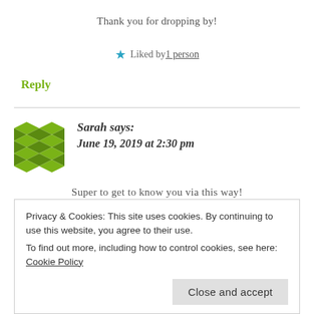Thank you for dropping by!
Liked by 1 person
Reply
Sarah says:
June 19, 2019 at 2:30 pm
Super to get to know you via this way!
Privacy & Cookies: This site uses cookies. By continuing to use this website, you agree to their use.
To find out more, including how to control cookies, see here: Cookie Policy
Close and accept